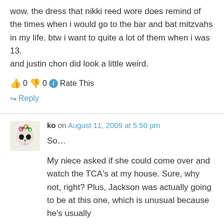wow. the dress that nikki reed wore does remind of the times when i would go to the bar and bat mitzvahs in my life. btw i want to quite a lot of them when i was 13.
and justin chon did look a little weird.
👍 0 👎 0 ℹ Rate This
↪ Reply
ko on August 11, 2009 at 5:50 pm
So…
My niece asked if she could come over and watch the TCA's at my house. Sure, why not, right? Plus, Jackson was actually going to be at this one, which is unusual because he's usually